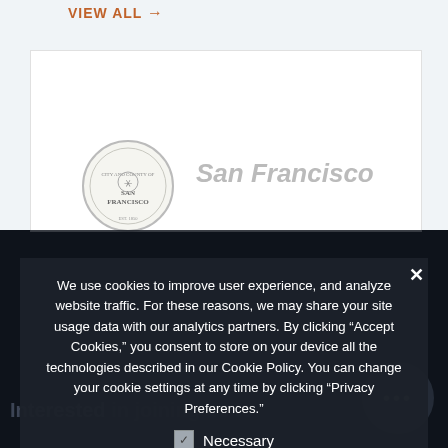VIEW ALL →
[Figure (logo): San Francisco city and county seal logo]
San Francisco
We use cookies to improve user experience, and analyze website traffic. For these reasons, we may share your site usage data with our analytics partners. By clicking "Accept Cookies," you consent to store on your device all the technologies described in our Cookie Policy. You can change your cookie settings at any time by clicking "Privacy Preferences."
Necessary
Privacy Preferences
I Agree
Interested in joining us to